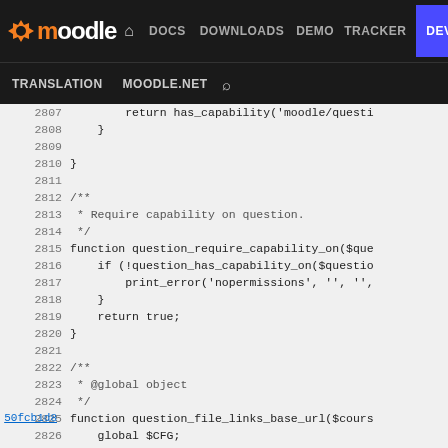moodle | DOCS DOWNLOADS DEMO TRACKER DEV | TRANSLATION MOODLE.NET search
[Figure (screenshot): Moodle developer site navigation bar with logo, nav links (DOCS, DOWNLOADS, DEMO, TRACKER, DEV highlighted in blue), and second row with TRANSLATION, MOODLE.NET, search icon]
Code viewer showing PHP source lines 2807-2832 with git hashes 50fcb1d8 and 3bee1ead. Functions: question_require_capability_on and question_file_links_base_url